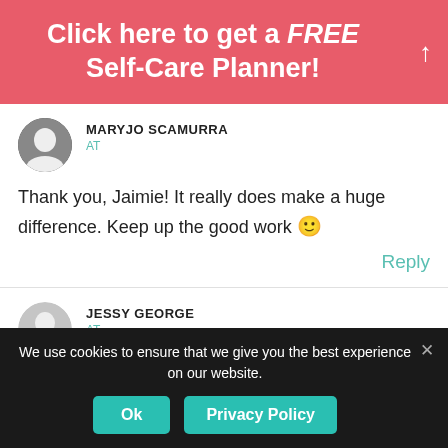Click here to get a FREE Self-Care Planner!
MARYJO SCAMURRA
AT
Thank you, Jaimie! It really does make a huge difference. Keep up the good work 🙂
Reply
JESSY GEORGE
AT
We use cookies to ensure that we give you the best experience on our website.
Ok
Privacy Policy